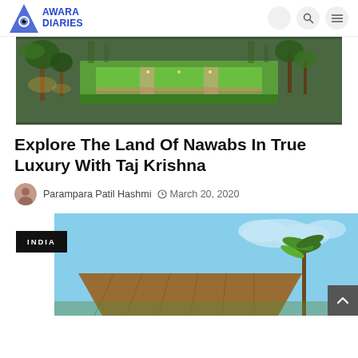Awara Diaries
[Figure (photo): Aerial view of a garden with lush green lawns, palm trees, lit pathways, and manicured hedges at dusk]
Explore The Land Of Nawabs In True Luxury With Taj Krishna
Parampara Patil Hashmi  © March 20, 2020
[Figure (photo): Tropical resort with thatched roof structure and palm trees under a blue sky, with an INDIA label badge]